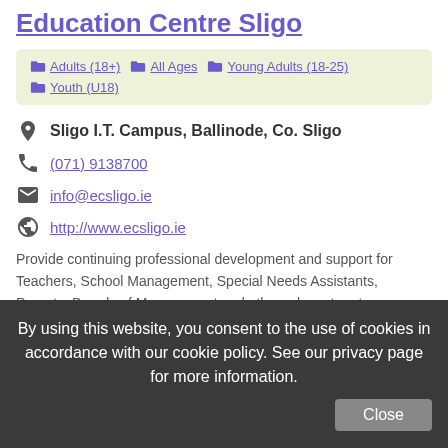Education Centre Sligo
Adults (18+)
All Ages
Young Adults (18-25)
Youth (U18)
Sligo I.T. Campus, Ballinode, Co. Sligo
(071) 9138700
info@ecsligo.ie
http://www.ecsligo.ie
Provide continuing professional development and support for Teachers, School Management, Special Needs Assistants, Parents, Boards of Management and other relevant partners
By using this website, you consent to the use of cookies in accordance with our cookie policy. See our privacy page for more information. Close